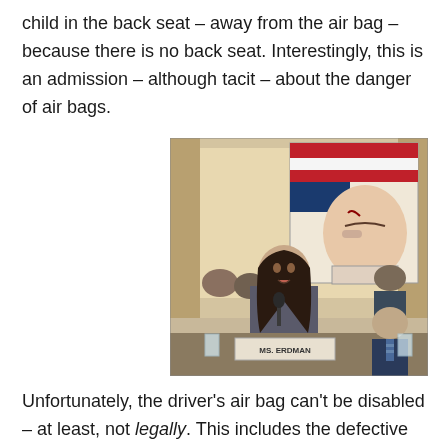child in the back seat – away from the air bag – because there is no back seat. Interestingly, this is an admission – although tacit – about the danger of air bags.
[Figure (photo): A woman identified as MS. ERDMAN testifies at what appears to be a congressional hearing, speaking into a microphone. Behind her, someone holds up a large photograph showing an injured person's face with visible trauma. Other attendees are visible in the background.]
Unfortunately, the driver's air bag can't be disabled – at least, not legally. This includes the defective Takata air bags – which are known to be not merely